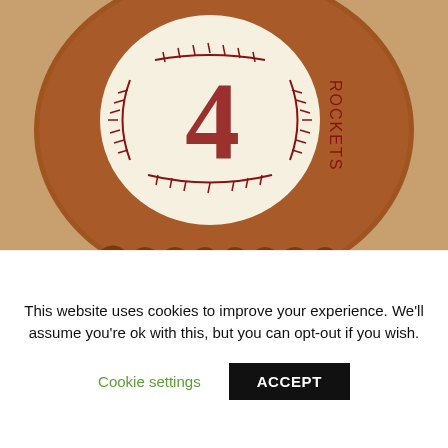[Figure (photo): Close-up photo of a baseball glove cake or cookie decorated with a baseball showing the number 4 in red, with stitching details and the word 'Rockets' written vertically on the side]
[Figure (photo): Row of small baseball glove cookies with numbers in red, partially cropped at bottom]
This website uses cookies to improve your experience. We'll assume you're ok with this, but you can opt-out if you wish.
Cookie settings
ACCEPT